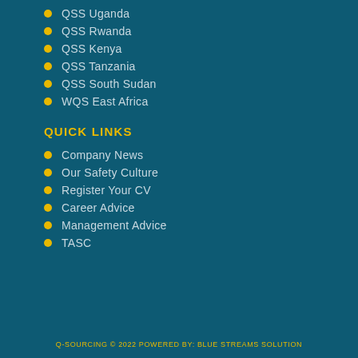QSS Uganda
QSS Rwanda
QSS Kenya
QSS Tanzania
QSS South Sudan
WQS East Africa
QUICK LINKS
Company News
Our Safety Culture
Register Your CV
Career Advice
Management Advice
TASC
Q-SOURCING © 2022 POWERED BY: BLUE STREAMS SOLUTION